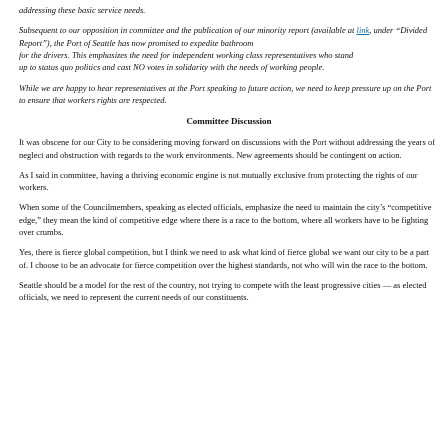addressing these basic service needs.
Subsequent to our opposition in committee and the publication of our minority report (available at link, under "Divided Report"), the Port of Seattle has now promised to expedite bathroom facilities for the drivers. This emphasizes the need for independent working class representatives who stand up to status quo politics and cast NO votes in solidarity with the needs of working people.
While we are happy to hear representatives at the Port speaking to future action, we need to keep pressure up on the Port to ensure that workers rights are respected.
Committee Discussion
It was obscene for our City to be considering moving forward on discussions with the Port without addressing the years of neglect and obstruction with regards to the work environments. New agreements should be contingent on action.
As I said in committee, having a thriving economic engine is not mutually exclusive from protecting the rights of our workers.
When some of the Councilmembers, speaking as elected officials, emphasize the need to maintain the city's “competitive edge,” they mean the kind of competitive edge where there is a race to the bottom, where all workers have to be fighting over crumbs.
Yes, there is fierce global competition, but I think we need to ask what kind of fierce global competition we want our city to be a part of. I choose to be an advocate for fierce competition over the highest standards, not who will win the race to the bottom.
Seattle should be a model for the rest of the country, not trying to compete with the least progressive cities — as elected officials, we need to represent the current needs of our constituents.